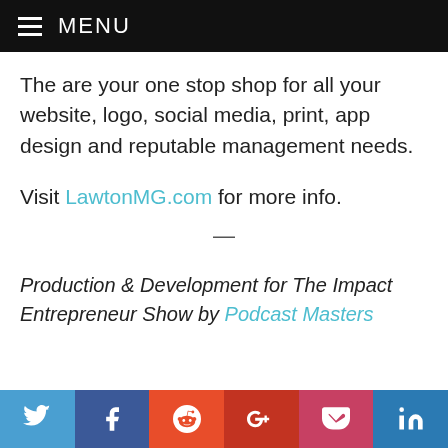≡ MENU
The are your one stop shop for all your website, logo, social media, print, app design and reputable management needs.
Visit LawtonMG.com for more info.
—
Production & Development for The Impact Entrepreneur Show by Podcast Masters
[Figure (infographic): Social media share buttons: Twitter (blue), Facebook (dark blue), Reddit (orange-red), Google+ (dark red), Pocket (pink-red), LinkedIn (blue)]